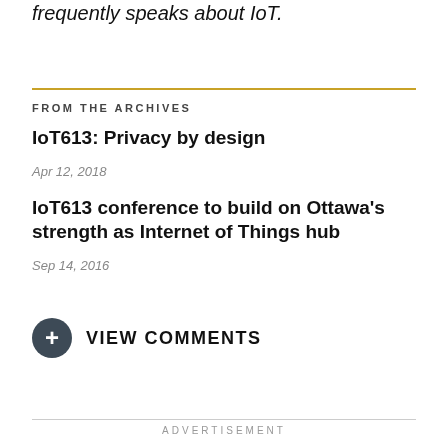frequently speaks about IoT.
FROM THE ARCHIVES
IoT613: Privacy by design
Apr 12, 2018
IoT613 conference to build on Ottawa's strength as Internet of Things hub
Sep 14, 2016
VIEW COMMENTS
ADVERTISEMENT